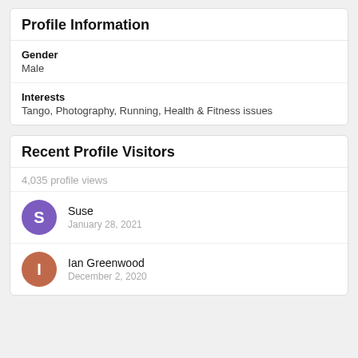Profile Information
Gender
Male
Interests
Tango, Photography, Running, Health & Fitness issues
Recent Profile Visitors
4,035 profile views
Suse
January 28, 2021
Ian Greenwood
December 2, 2020